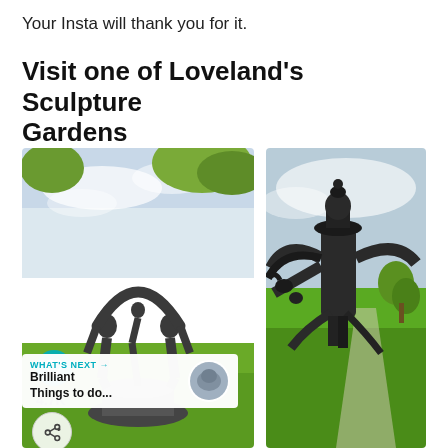Your Insta will thank you for it.
Visit one of Loveland’s Sculpture Gardens
[Figure (photo): Two bronze acrobat figures forming a circular arch shape, photographed outdoors in a green park setting. UI overlay shows a teal heart button, a 4.7K like count, and a share icon. A 'WHAT'S NEXT → Brilliant Things to do...' callout with a circular thumbnail appears at the bottom.]
[Figure (photo): Close-up bronze sculpture of an angel or winged figure wearing a hat, with bronze birds (ravens/crows) perched on its outstretched arm and hat, photographed outdoors with green park in background.]